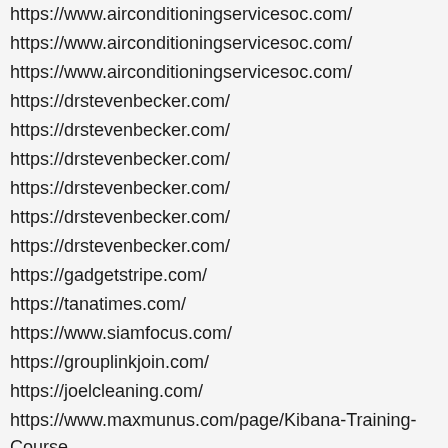https://www.airconditioningservicesoc.com/
https://www.airconditioningservicesoc.com/
https://www.airconditioningservicesoc.com/
https://drstevenbecker.com/
https://drstevenbecker.com/
https://drstevenbecker.com/
https://drstevenbecker.com/
https://drstevenbecker.com/
https://drstevenbecker.com/
https://gadgetstripe.com/
https://tanatimes.com/
https://www.siamfocus.com/
https://grouplinkjoin.com/
https://joelcleaning.com/
https://www.maxmunus.com/page/Kibana-Training-Course
https://...